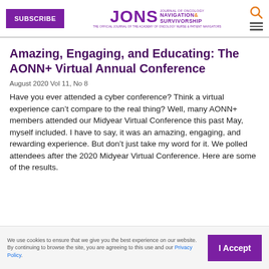SUBSCRIBE | JONS Journal of Oncology Navigation & Survivorship
Amazing, Engaging, and Educating: The AONN+ Virtual Annual Conference
August 2020 Vol 11, No 8
Have you ever attended a cyber conference? Think a virtual experience can’t compare to the real thing? Well, many AONN+ members attended our Midyear Virtual Conference this past May, myself included. I have to say, it was an amazing, engaging, and rewarding experience. But don’t just take my word for it. We polled attendees after the 2020 Midyear Virtual Conference. Here are some of the results.
We use cookies to ensure that we give you the best experience on our website. By continuing to browse the site, you are agreeing to this use and our Privacy Policy.